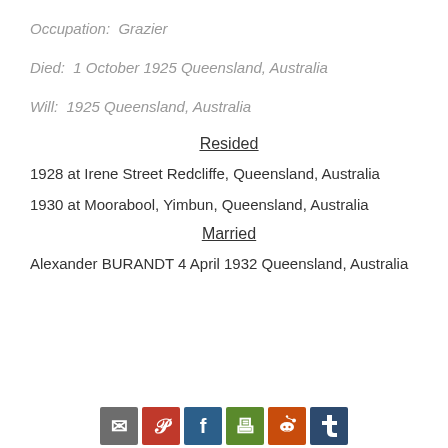Occupation:  Grazier
Died:  1 October 1925 Queensland, Australia
Will:  1925 Queensland, Australia
Resided
1928 at Irene Street Redcliffe, Queensland, Australia
1930 at Moorabool, Yimbun, Queensland, Australia
Married
Alexander BURANDT 4 April 1932 Queensland, Australia
Social share icons: email, pinterest, facebook, print, reddit, tumblr